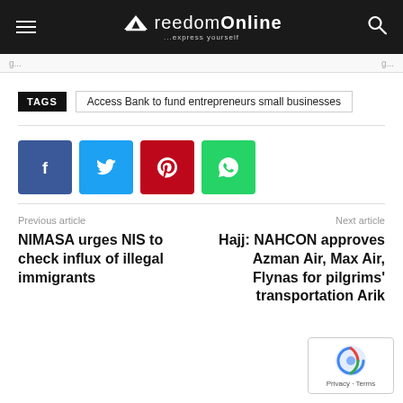Freedom Online - express yourself
TAGS  Access Bank to fund entrepreneurs small businesses
[Figure (infographic): Social share buttons: Facebook (blue), Twitter (light blue), Pinterest (red), WhatsApp (green)]
Previous article
NIMASA urges NIS to check influx of illegal immigrants
Next article
Hajj: NAHCON approves Azman Air, Max Air, Flynas for pilgrims' transportation Arik